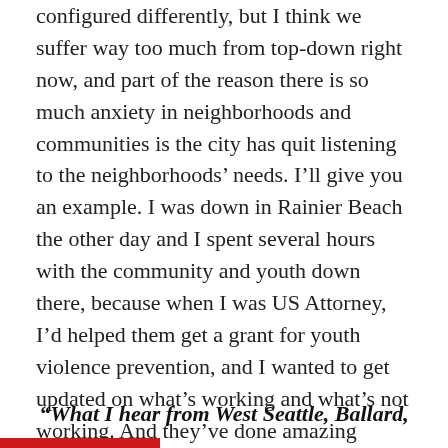configured differently, but I think we suffer way too much from top-down right now, and part of the reason there is so much anxiety in neighborhoods and communities is the city has quit listening to the neighborhoods' needs. I'll give you an example. I was down in Rainier Beach the other day and I spent several hours with the community and youth down there, because when I was US Attorney, I'd helped them get a grant for youth violence prevention, and I wanted to get updated on what's working and what's not working. And they've done amazing things. Even with the huge amount of displacement, the increased violence, the deaths they'd seen, the community is fighting to maintain its place.
“What I hear from West Seattle, Ballard,